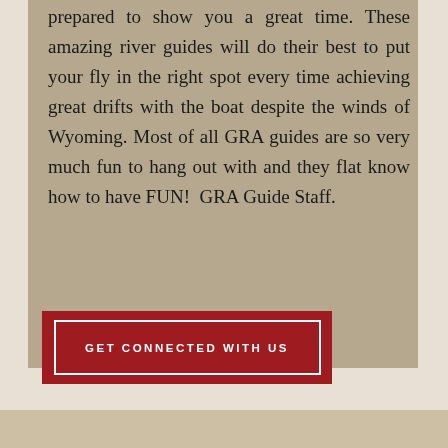prepared to show you a great time. These amazing river guides will do their best to put your fly in the right spot every time achieving great drifts with the boat despite the winds of Wyoming. Most of all GRA guides are so very much fun to hang out with and they flat know how to have FUN! GRA Guide Staff.
GET CONNECTED WITH US